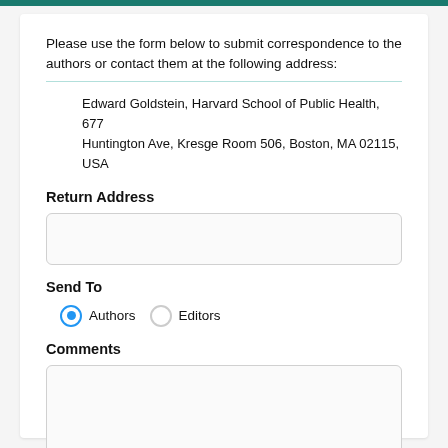Please use the form below to submit correspondence to the authors or contact them at the following address:
Edward Goldstein, Harvard School of Public Health, 677 Huntington Ave, Kresge Room 506, Boston, MA 02115, USA
Return Address
Send To
Authors  Editors
Comments